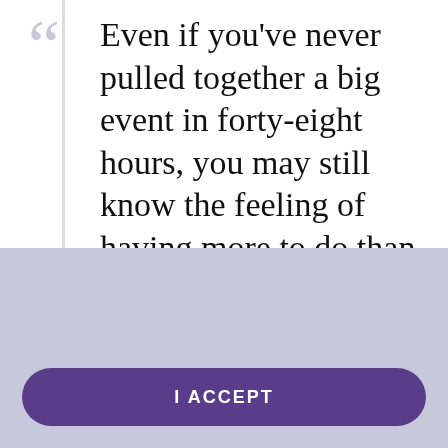Even if you've never pulled together a big event in forty-eight hours, you may still know the feeling of having more to do than you can even
This website uses cookies to improve functionality and performance. By continuing to browse the site you are agreeing to our use of cookies.
I ACCEPT